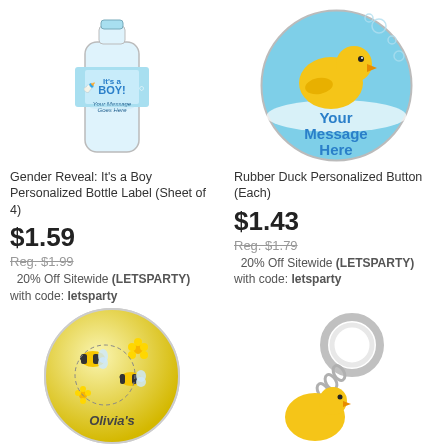[Figure (photo): Gender Reveal: It's a Boy Personalized Bottle Label - water bottle with blue label]
[Figure (photo): Rubber Duck Personalized Button - round button with rubber duck and 'Your Message Here' text]
Gender Reveal: It's a Boy Personalized Bottle Label (Sheet of 4)
Rubber Duck Personalized Button (Each)
$1.59
Reg. $1.99
20% Off Sitewide (LETSPARTY) with code: letsparty
$1.43
Reg. $1.79
20% Off Sitewide (LETSPARTY) with code: letsparty
[Figure (photo): Bee-themed personalized button circle with bees and 'Olivia's' text]
[Figure (photo): Keychain product image with silver ring]